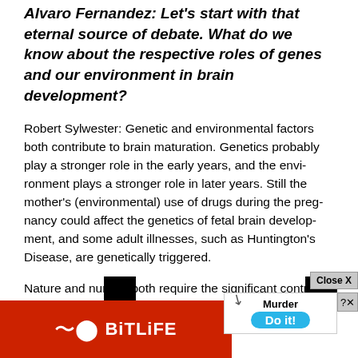Alvaro Fernandez: Let's start with that eternal source of debate. What do we know about the respective roles of genes and our environment in brain development?
Robert Sylwester: Genetic and environmental factors both contribute to brain maturation. Genetics probably play a stronger role in the early years, and the environment plays a stronger role in later years. Still the mother's (environmental) use of drugs during the pregnancy could affect the genetics of fetal brain development, and some adult illnesses, such as Huntington's Disease, are genetically triggered.
Nature and nurture both require the significant contributions of the other in most developmental brain maintenance and environmental facto...
[Figure (screenshot): Advertisement overlay containing BitLife game ad (red background with sperm logo and BITLIFE text) and a Murder game ad with 'Do it!' button, plus a Close X button in the upper right corner of the ad area.]